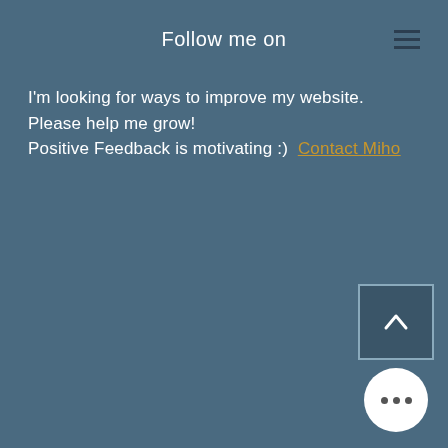Follow me on
I'm looking for ways to improve my website. Please help me grow!
Positive Feedback is motivating :)  Contact Miho
[Figure (other): Scroll to top button with upward chevron arrow icon]
[Figure (other): More options button — white circle with three horizontal dots]